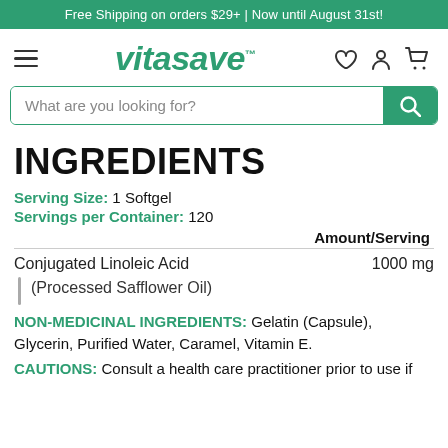Free Shipping on orders $29+ | Now until August 31st!
[Figure (logo): Vitasave logo with hamburger menu and icons (heart, user, cart)]
What are you looking for?
INGREDIENTS
Serving Size: 1 Softgel
Servings per Container: 120
|  | Amount/Serving |
| --- | --- |
| Conjugated Linoleic Acid | 1000 mg |
| (Processed Safflower Oil) |  |
NON-MEDICINAL INGREDIENTS: Gelatin (Capsule), Glycerin, Purified Water, Caramel, Vitamin E.
CAUTIONS: Consult a health care practitioner prior to use if